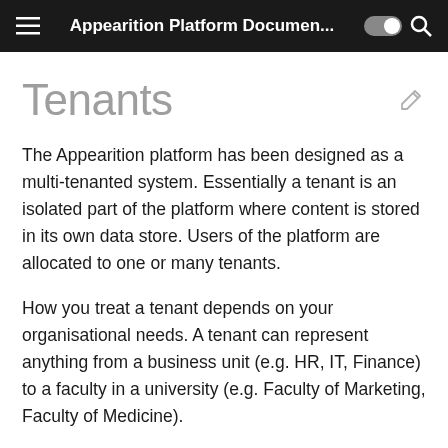Appearition Platform Documen...
Tenants
The Appearition platform has been designed as a multi-tenanted system. Essentially a tenant is an isolated part of the platform where content is stored in its own data store. Users of the platform are allocated to one or many tenants.
How you treat a tenant depends on your organisational needs. A tenant can represent anything from a business unit (e.g. HR, IT, Finance) to a faculty in a university (e.g. Faculty of Marketing, Faculty of Medicine).